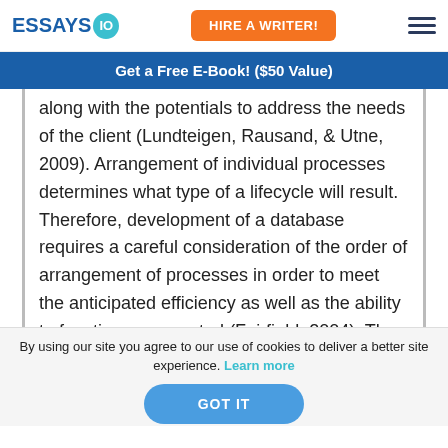ESSAYS IO | HIRE A WRITER!
Get a Free E-Book! ($50 Value)
along with the potentials to address the needs of the client (Lundteigen, Rausand, & Utne, 2009). Arrangement of individual processes determines what type of a lifecycle will result. Therefore, development of a database requires a careful consideration of the order of arrangement of processes in order to meet the anticipated efficiency as well as the ability to function as expected (Fairfield, 2004). The
By using our site you agree to our use of cookies to deliver a better site experience. Learn more
GOT IT